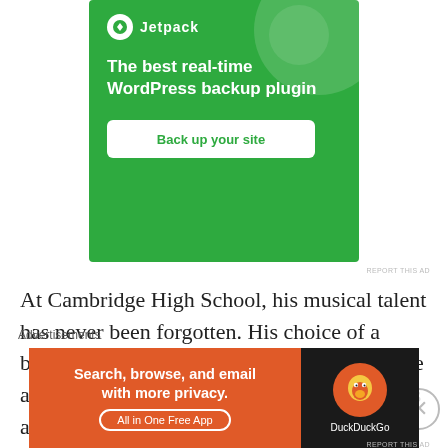[Figure (screenshot): Jetpack advertisement banner. Green background with Jetpack logo and text: 'The best real-time WordPress backup plugin' with a 'Back up your site' button.]
At Cambridge High School, his musical talent has never been forgotten. His choice of a band instrument became a sousaphone, but he also sang in many groups as well as served as accompanist. No wonder he was voted the boy most likely to succeed as well as the most talented
Advertisements
[Figure (screenshot): DuckDuckGo advertisement. Orange left panel: 'Search, browse, and email with more privacy.' with 'All in One Free App' button. Dark right panel with DuckDuckGo duck logo and brand name.]